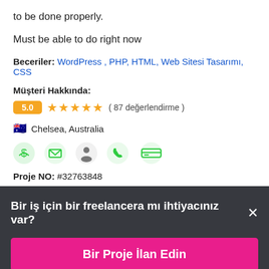to be done properly.
Must be able to do right now
Beceriler: WordPress , PHP, HTML, Web Sitesi Tasarımı, CSS
Müşteri Hakkında:
5.0 ★★★★★ ( 87 değerlendirme )
Chelsea, Australia
[Figure (infographic): Row of five green icons: dollar shield, envelope, person, phone, card reader]
Proje NO: #32763848
Bir iş için bir freelancera mı ihtiyacınız var?
Bir Proje İlan Edin